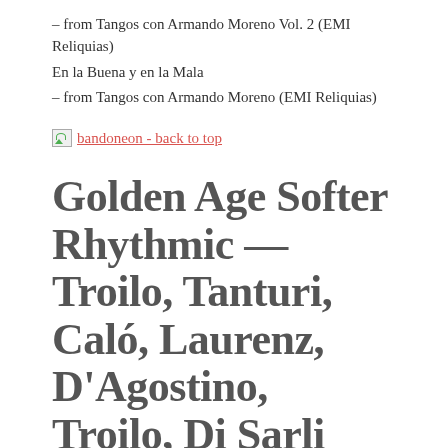– from Tangos con Armando Moreno Vol. 2 (EMI Reliquias)
En la Buena y en la Mala
– from Tangos con Armando Moreno (EMI Reliquias)
bandoneon - back to top
Golden Age Softer Rhythmic — Troilo, Tanturi, Caló, Laurenz, D'Agostino, Troilo, Di Sarli
Pedro Laurenz, Ricardo Tanturi, Aníbal Troilo, Miguel Caló, and Angel D'Agostino played with softer rhythms than the more strident thenumes of